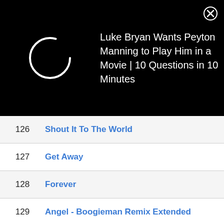[Figure (screenshot): Black ad banner with a loading spinner circle on the left and text 'Luke Bryan Wants Peyton Manning to Play Him in a Movie | 10 Questions in 10 Minutes' on the right, with a close (X) button in the top-right corner.]
| # | Title |
| --- | --- |
| 126 | Shout It To The World |
| 127 | Get Away |
| 128 | Forever |
| 129 | Angel - Boogieman Remix Extended |
| 130 | All Around The World - Bob Sinclar Remix |
| 131 | To Love a Woman (feat. Enrique Iglesias) |
| 132 | Penny Lover - Live |
| 133 | Heaven |
| 134 | Don't Stop - 12" Version |
| 135 | Angel - Metro Mix |
| 136 | Angel (Boogieman Remix Extended) |
| 137 | All Around the World (Bob Sinclair remix) |